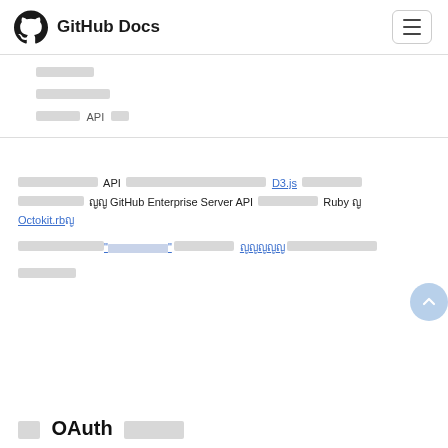GitHub Docs
ญญญญญญ
ญญญญญญญ
ญญญญญ API ญญ
ญญญญญญญญญญญ API ญญญญญญญญญญญญญญญญญญญญญญญญ ญญญญญญญ D3.js ญญญญญญญญ ญญญญญญญญญญ ญญ GitHub Enterprise Server API ญญญญญญญญญญ Ruby ญ Octokit.rb ญ
ญญญญญญญญญญญญญ "ญญญญญญญญ" ญญญญญญญญญญญ ญญญญ ญญญญญ ญญญญญญญญญญญญญญญ
ญญญญญญญ
ญญ OAuth ญญญญญ